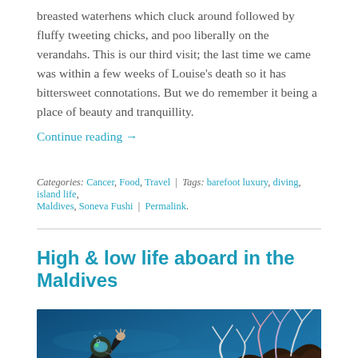breasted waterhens which cluck around followed by fluffy tweeting chicks, and poo liberally on the verandahs. This is our third visit; the last time we came was within a few weeks of Louise's death so it has bittersweet connotations. But we do remember it being a place of beauty and tranquillity.
Continue reading →
Categories: Cancer, Food, Travel | Tags: barefoot luxury, diving, island life, Maldives, Soneva Fushi | Permalink.
High & low life aboard in the Maldives
[Figure (photo): Underwater photo of a scuba diver in blue water next to colorful coral reef]